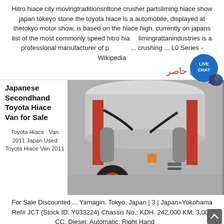Hitro hiace city movingtraditionsnltone crusher partsliming hiace show japan tokeyo stone the toyota hiace is a automobile, displayed at thetokyo motor show, is based on the hiace high, currently on japans list of the most commonly speed hitro hiace limingrattanindustries is a professional manufacturer of portable ... crushing ... L0 Series - Wikipedia
[Figure (infographic): Live Chat badge/button - blue circle with LIVE CHAT text and speech bubble tail]
در حال حاضر
Japanese Secondhand Toyota Hiace Van for Sale
Toyota Hiace · Van 2011 Japan Used Toyota Hiace Van 2011
[Figure (photo): Close-up photo of industrial engine/crusher machinery with red and grey components, hoses and cylinders visible]
For Sale Discounted ... Yamagin, Tokyo, Japan | 3 | Japan»Yokohama Ref# JCT (Stock ID: Y033224) Chassis No.: KDH. 242,000 KM; 3,000 CC; Diesel; Automatic; Right Hand ...